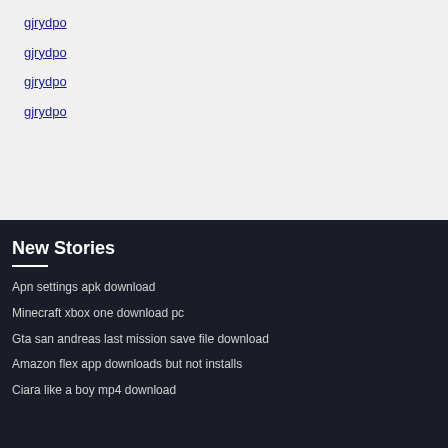gjrydpo
gjrydpo
gjrydpo
gjrydpo
New Stories
Apn settings apk download
Minecraft xbox one download pc
Gta san andreas last mission save file download
Amazon flex app downloads but not installs
Ciara like a boy mp4 download